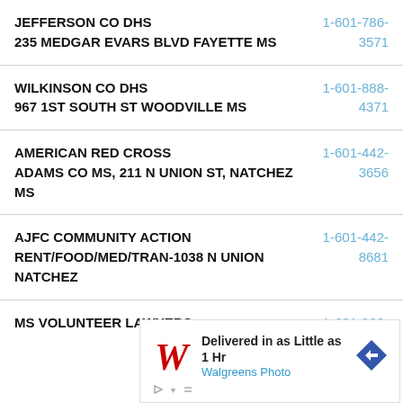JEFFERSON CO DHS
235 MEDGAR EVARS BLVD FAYETTE MS
1-601-786-3571
WILKINSON CO DHS
967 1ST SOUTH ST WOODVILLE MS
1-601-888-4371
AMERICAN RED CROSS
ADAMS CO MS, 211 N UNION ST, NATCHEZ MS
1-601-442-3656
AJFC COMMUNITY ACTION
RENT/FOOD/MED/TRAN-1038 N UNION NATCHEZ
1-601-442-8681
MS VOLUNTEER LAWYERS
1-601-960-...
[Figure (infographic): Walgreens Photo advertisement banner: 'Delivered in as Little as 1 Hr' with Walgreens logo and navigation arrow icon]